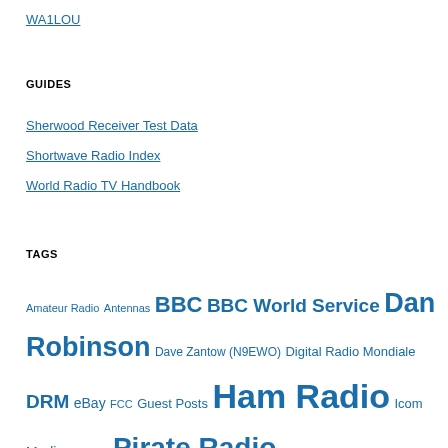WA1LOU
GUIDES
Sherwood Receiver Test Data
Shortwave Radio Index
World Radio TV Handbook
TAGS
Amateur Radio Antennas BBC BBC World Service Dan Robinson Dave Zantow (N9EWO) Digital Radio Mondiale DRM eBay FCC Guest Posts Ham Radio Icom Mediumwave Pirate Radio QRP Radio Australia Radio Deals Radio History Radios in Movies Radio Waves Recordings Richard Langley Sangean SDR SDRplay shortwave Shortwave Music Shortwave Pirates Shortwave Radio